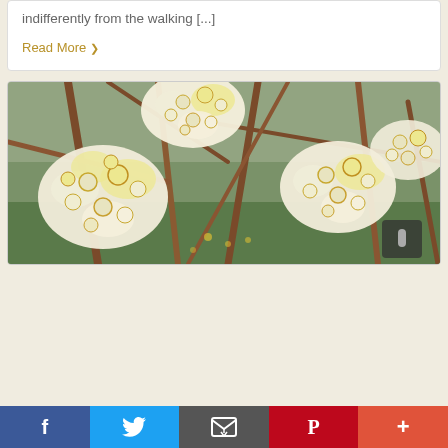indifferently from the walking [...]
Read More ❯
[Figure (photo): Close-up photograph of clusters of white and yellow flowers (likely Edgeworthia chrysantha / paperbush) blooming on bare brown branches with green foliage in the background. A small dark scroll indicator UI element is visible in the lower right corner of the image.]
f  (Twitter bird icon)  (envelope icon)  P  +